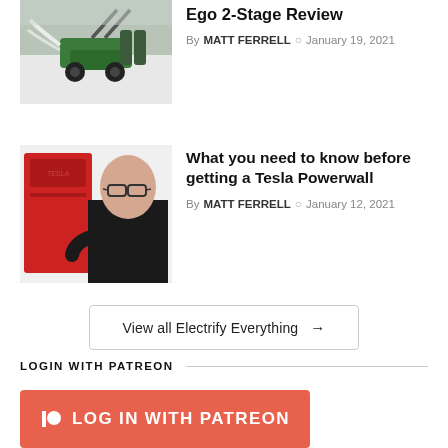[Figure (photo): Thumbnail image of a person using a green snow blower outdoors in snow]
Ego 2-Stage Review
By MATT FERRELL  January 19, 2021
[Figure (photo): Thumbnail image of a bald man with glasses standing next to a red Tesla Powerwall]
What you need to know before getting a Tesla Powerwall
By MATT FERRELL  January 12, 2021
View all Electrify Everything →
LOGIN WITH PATREON
LOG IN WITH PATREON